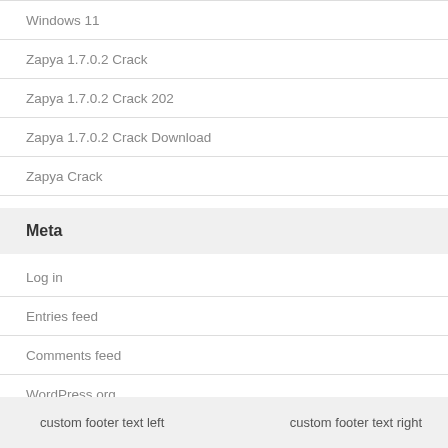Windows 11
Zapya 1.7.0.2 Crack
Zapya 1.7.0.2 Crack 202
Zapya 1.7.0.2 Crack Download
Zapya Crack
Meta
Log in
Entries feed
Comments feed
WordPress.org
custom footer text left    custom footer text right